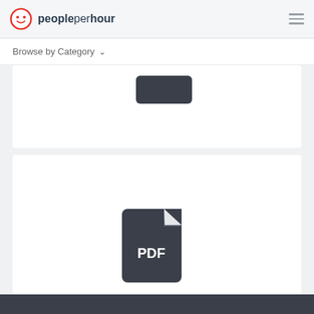[Figure (logo): PeoplePerHour logo with red circle smiley face icon and text]
[Figure (other): Hamburger menu icon with three horizontal lines]
Browse by Category ∨
[Figure (other): Dark rounded rectangle button element (cropped card)]
[Figure (other): PDF file icon in dark charcoal color with white PDF label text]